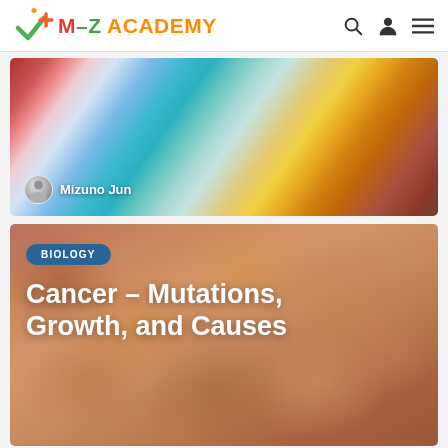M-Z ACADEMY
[Figure (photo): Microscopy image with abstract colorful cell-like patterns in pink, blue, teal, and yellow-orange. Author avatar and name 'Mizuno Jun' visible at bottom left.]
[Figure (photo): Microscopy image showing orange/brown cells with dark outlines. Biology tag and article title 'Cancer – Mutations, Growth, and Causes' overlay the image.]
Cancer – Mutations, Growth, and Causes